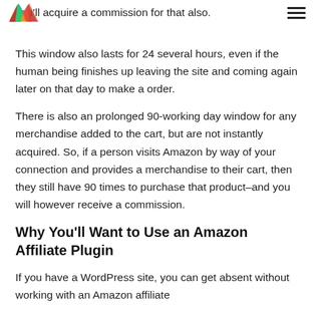you'll acquire a commission for that also. This window also lasts for 24 several hours, even if the human being finishes up leaving the site and coming again later on that day to make a order.
There is also an prolonged 90-working day window for any merchandise added to the cart, but are not instantly acquired. So, if a person visits Amazon by way of your connection and provides a merchandise to their cart, then they still have 90 times to purchase that product–and you will however receive a commission.
Why You'll Want to Use an Amazon Affiliate Plugin
If you have a WordPress site, you can get absent without working with an Amazon affiliate